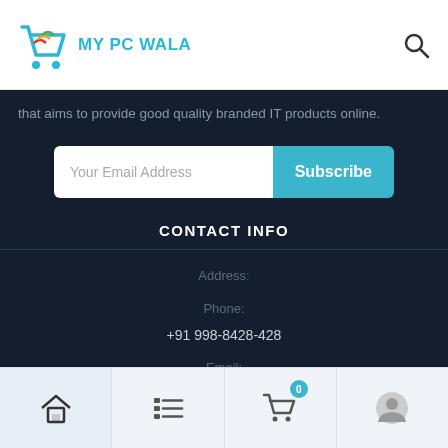MY PC WALA
that aims to provide good quality branded IT products online.
Your Email Address | Subscribe
CONTACT INFO
Address:
Phone:
+91 998-8428-428
Email:
support@mypcwala.com
Home | List | Cart (0) | Profile